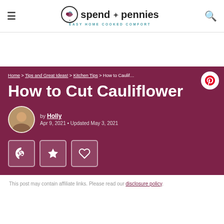spend with pennies – Easy Home Cooked Comfort
Home > Tips and Great Ideas! > Kitchen Tips > How to Cut Cauliflower
How to Cut Cauliflower
by Holly
Apr 9, 2021 • Updated May 3, 2021
This post may contain affiliate links. Please read our disclosure policy.